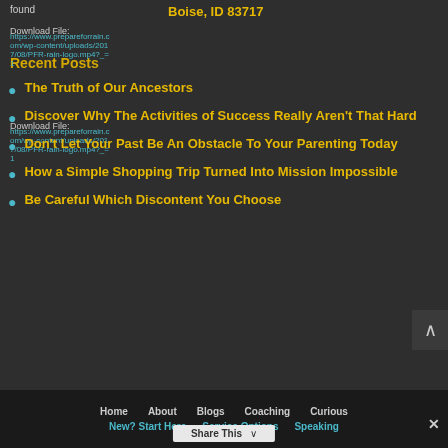found
Boise, ID 83717
Download File:
https://www.prepareforrain.com/wp-content/uploads/2017/08/PFR-rain-logo.mp4?_=1
Download File:
https://www.prepareforrain.com/wp-content/uploads/2017/08/PFR-rain-logo.mp4?_=1
Recent Posts
The Truth of Our Ancestors
Discover Why The Activities of Success Really Aren't That Hard
Don't Let Your Past Be An Obstacle To Your Parenting Today
How a Simple Shopping Trip Turned Into Mission Impossible
Be Careful Which Discontent You Choose
Home   About   Blogs   Coaching   Curious
New? Start Here   Service Options   Speaking
Share This ×